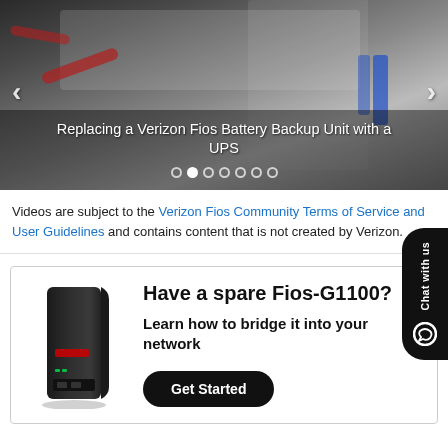[Figure (screenshot): Slideshow image showing electrical wiring panel with battery backup unit being replaced. Overlay text reads 'Replacing a Verizon Fios Battery Backup Unit with a UPS'. Navigation arrows on left and right. Pagination dots at bottom.]
Videos are subject to the Verizon Fios Community Terms of Service and User Guidelines and contains content that is not created by Verizon.
[Figure (infographic): Promotional banner showing a Fios-G1100 router image on left, with text 'Have a spare Fios-G1100? Learn how to bridge it into your network' and a 'Get Started' button on right.]